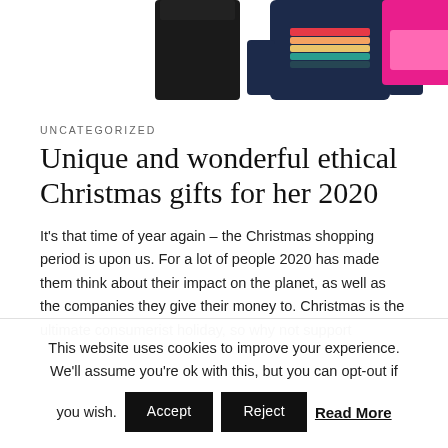[Figure (photo): Top strip showing partial clothing items: a dark/black item on left, a navy blue rainbow sweater in center, and pink swimwear/clothing on right, cropped at top of page.]
UNCATEGORIZED
Unique and wonderful ethical Christmas gifts for her 2020
It's that time of year again – the Christmas shopping period is upon us. For a lot of people 2020 has made them think about their impact on the planet, as well as the companies they give their money to. Christmas is the ultimate consumerist holiday, so why not support
This website uses cookies to improve your experience. We'll assume you're ok with this, but you can opt-out if you wish.  Accept  Reject  Read More